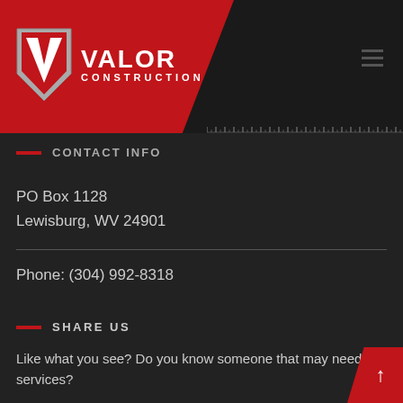[Figure (logo): Valor Construction logo with red shield/chevron icon and white text on red diagonal header background]
CONTACT INFO
PO Box 1128
Lewisburg, WV 24901
Phone: (304) 992-8318
SHARE US
Like what you see? Do you know someone that may need our services?